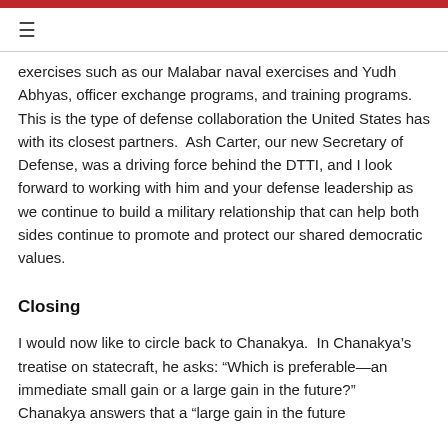≡
exercises such as our Malabar naval exercises and Yudh Abhyas, officer exchange programs, and training programs.  This is the type of defense collaboration the United States has with its closest partners.  Ash Carter, our new Secretary of Defense, was a driving force behind the DTTI, and I look forward to working with him and your defense leadership as we continue to build a military relationship that can help both sides continue to promote and protect our shared democratic values.
Closing
I would now like to circle back to Chanakya.  In Chanakya's treatise on statecraft, he asks: “Which is preferable—an immediate small gain or a large gain in the future?” Chanakya answers that a “large gain in the future” is...